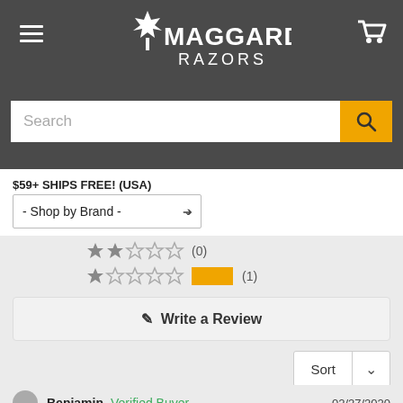[Figure (screenshot): Maggard Razors website header with logo, hamburger menu, cart icon, search bar, shipping promo, and shop by brand dropdown]
$59+ SHIPS FREE! (USA)
- Shop by Brand -
★★☆☆☆ (0)
★☆☆☆☆ [yellow bar] (1)
✎ Write a Review
Sort ∨
Benjamin  Verified Buyer  02/27/2020